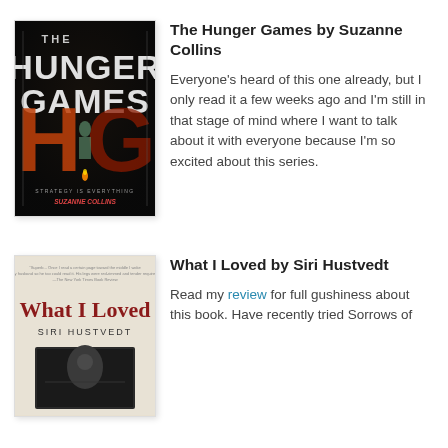[Figure (illustration): Book cover of The Hunger Games by Suzanne Collins — dark background with large glowing HG letters, a girl figure visible through the H, text 'Strategy is Everything' and 'Suzanne Collins' at bottom]
The Hunger Games by Suzanne Collins
Everyone's heard of this one already, but I only read it a few weeks ago and I'm still in that stage of mind where I want to talk about it with everyone because I'm so excited about this series.
[Figure (illustration): Book cover of What I Loved by Siri Hustvedt — light beige/cream cover with red title text 'What I Loved' and author name 'Siri Hustvedt', small quote text at top, dark image at bottom]
What I Loved by Siri Hustvedt
Read my review for full gushiness about this book. Have recently tried Sorrows of